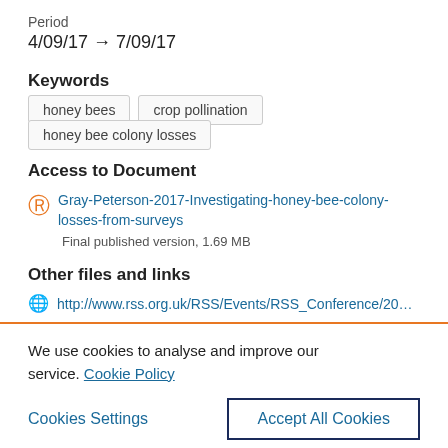Period
4/09/17 → 7/09/17
Keywords
honey bees
crop pollination
honey bee colony losses
Access to Document
Gray-Peterson-2017-Investigating-honey-bee-colony-losses-from-surveys
Final published version, 1.69 MB
Other files and links
http://www.rss.org.uk/RSS/Events/RSS_Conference/2017_C
We use cookies to analyse and improve our service. Cookie Policy
Cookies Settings
Accept All Cookies